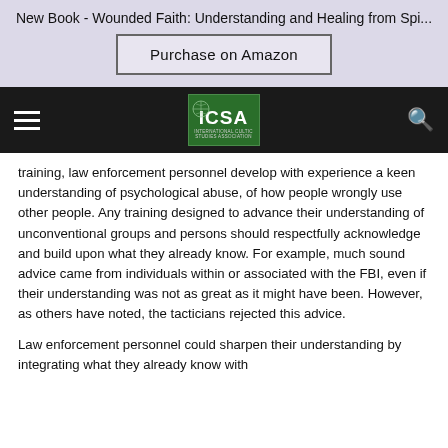New Book - Wounded Faith: Understanding and Healing from Spi...
Purchase on Amazon
[Figure (logo): ICSA - International Cultic Studies Association logo on dark navigation bar with hamburger menu and search icon]
training, law enforcement personnel develop with experience a keen understanding of psychological abuse, of how people wrongly use other people.  Any training designed to advance their understanding of unconventional groups and persons should respectfully acknowledge and build upon what they already know.  For example, much sound advice came from individuals within or associated with the FBI, even if their understanding was not as great as it might have been.  However, as others have noted, the tacticians rejected this advice.
Law enforcement personnel could sharpen their understanding by integrating what they already know with